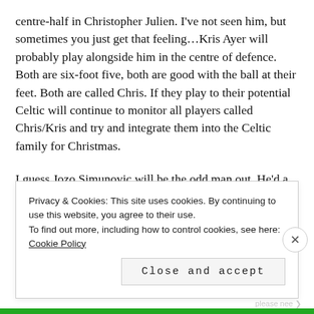centre-half in Christopher Julien. I've not seen him, but sometimes you just get that feeling...Kris Ayer will probably play alongside him in the centre of defence. Both are six-foot five, both are good with the ball at their feet. Both are called Chris. If they play to their potential Celtic will continue to monitor all players called Chris/Kris and try and integrate them into the Celtic family for Christmas.
I guess Jozo Simunovic will be the odd man out. He'd a great end of season, scoring that goal in the 67th minute and honouring Billy McNeil while wearing number 5. He
Privacy & Cookies: This site uses cookies. By continuing to use this website, you agree to their use. To find out more, including how to control cookies, see here: Cookie Policy
Close and accept